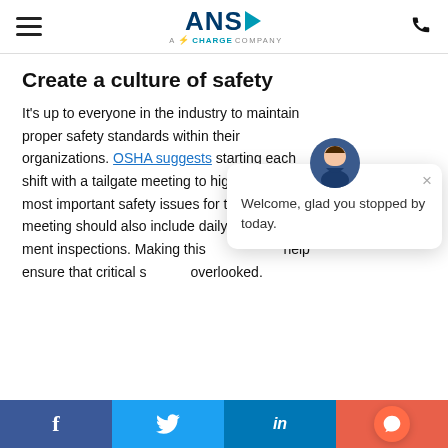ANS – A Charge Company
Create a culture of safety
It's up to everyone in the industry to maintain proper safety standards within their organizations. OSHA suggests starting each shift with a tailgate meeting to highlight the most important safety issues for the day. The meeting should also include daily equipment inspections. Making this a routine can help ensure that critical safety items are never overlooked.
[Figure (screenshot): Chat popup with avatar: 'Welcome, glad you stopped by today.']
Safety for Tower Climbers
Facebook | Twitter | LinkedIn | Chat